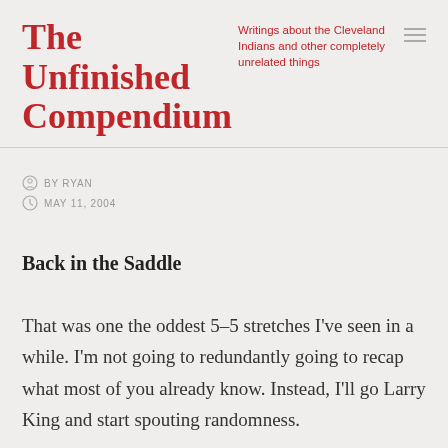The Unfinished Compendium
Writings about the Cleveland Indians and other completely unrelated things
BY RYAN
MAY 11, 2004
Back in the Saddle
That was one the oddest 5–5 stretches I've seen in a while. I'm not going to redundantly going to recap what most of you already know. Instead, I'll go Larry King and start spouting randomness.